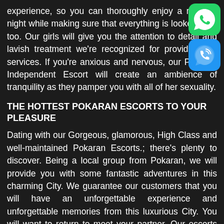experience, so you can thoroughly enjoy a relaxing night while making sure that everything is looked after too. Our girls will give you the attention to detail and lavish treatment we're recognized for providing top services. If you're anxious and nervous, our Pokaran Independent Escort will create an ambience of tranquility as they pamper you with all of her sexuality.
THE HOTTEST POKARAN ESCORTS TO YOUR PLEASURE
Dating with our Gorgeous, glamorous, High Class and well-maintained Pokaran Escorts.; there's plenty to discover. Being a local group from Pokaran, we will provide you with some fantastic adventures in this charming City. We guarantee our customers that you will have an unforgettable experience and unforgettable memories from this luxurious City. You will want to return to meet your partner. Our escorts are eager to display their charming side to you. With the help of our Fun Call Girl escorts, your travels and leisure time will be at the top of the
[Figure (illustration): Green WhatsApp icon in top-right corner]
[Figure (illustration): Blue phone/call icon below WhatsApp icon in top-right corner]